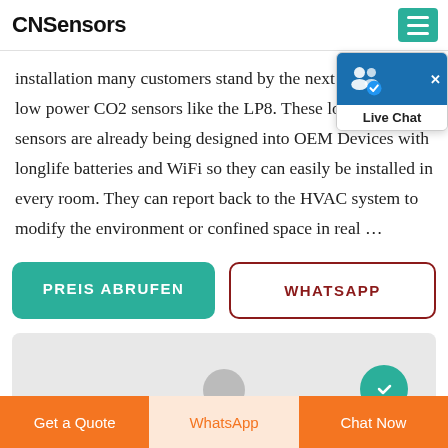CNSensors
installation many customers stand by the next generation of low power CO2 sensors like the LP8. These lowpower sensors are already being designed into OEM Devices with longlife batteries and WiFi so they can easily be installed in every room. They can report back to the HVAC system to modify the environment or confined space in real ...
PREIS ABRUFEN
WHATSAPP
[Figure (screenshot): Gray card area with circular navigation elements]
Get a Quote | WhatsApp | Chat Now